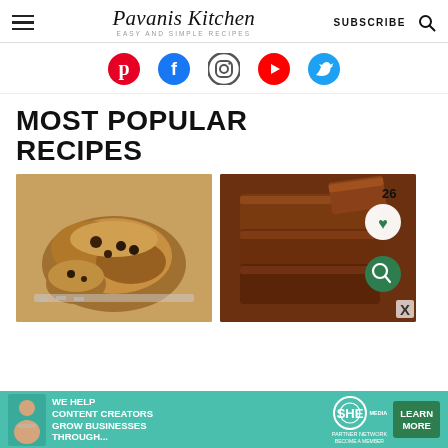Pavanis Kitchen — EASY AND SIMPLE RECIPES — SUBSCRIBE
[Figure (infographic): Social media icons: Pinterest (red), Facebook (blue), Instagram (gradient/outline), YouTube (red), Twitter (blue)]
MOST POPULAR RECIPES
[Figure (photo): Photo of oatmeal chocolate chip cookies stacked on a wire cooling rack]
[Figure (photo): Photo of stacked fudgy brownies with a heart/favorite badge showing 26 and a search badge]
[Figure (infographic): Advertisement banner: WE HELP CONTENT CREATORS GROW BUSINESSES THROUGH... SHE PARTNER NETWORK BECOME A MEMBER — LEARN MORE]